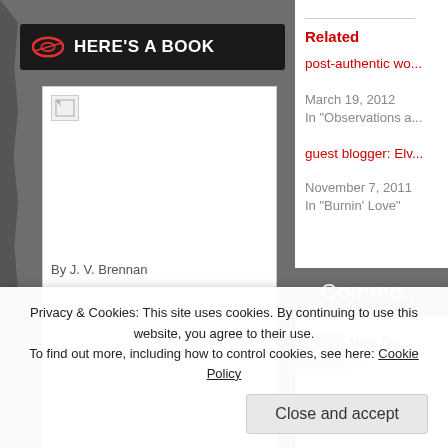HERE'S A BOOK
[Figure (illustration): Book preview widget showing a book by J. V. Brennan with a blurb badge, displayed in a white frame on a dark background. Broken image placeholder at top. 'Book Preview' link at bottom.]
By J. V. Brennan
Book Preview
Related
post-authentic wo...
March 19, 2012
In "Observations a..."
guest blogger: Elv...
November 7, 2011
In "Burnin' Love"
Comme...
Miss De...
nb...
Privacy & Cookies: This site uses cookies. By continuing to use this website, you agree to their use.
To find out more, including how to control cookies, see here: Cookie Policy
Close and accept